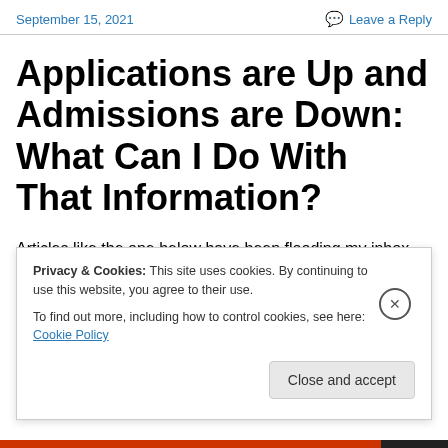September 15, 2021    Leave a Reply
Applications are Up and Admissions are Down: What Can I Do With That Information?
Articles like the one below have been flooding my inbox this past week.   The moral seems to be that applications are up and acceptances are down — significantly down.
Privacy & Cookies: This site uses cookies. By continuing to use this website, you agree to their use.
To find out more, including how to control cookies, see here: Cookie Policy
Close and accept